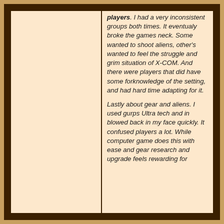players. I had a very inconsistent groups both times. It eventualy broke the games neck. Some wanted to shoot aliens, other's wanted to feel the struggle and grim situation of X-COM. And there were players that did have some forknowledge of the setting, and had hard time adapting for it.

Lastly about gear and aliens. I used gurps Ultra tech and in blowed back in my face quickly. It confused players a lot. While computer game does this with ease and gear research and upgrade feels rewarding for